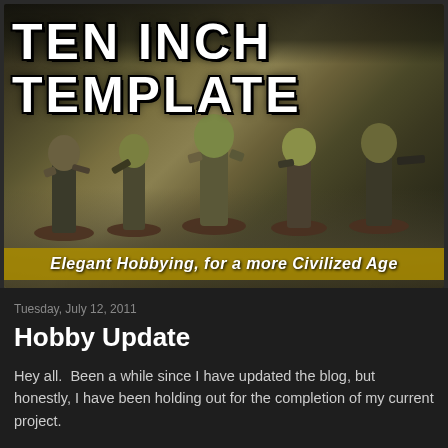[Figure (photo): Blog header banner showing painted tabletop wargaming miniatures (ork/zombie-like figures) on a detailed gaming board, with the blog title 'TEN INCH TEMPLATE' in large white Impact font at the top, and the subtitle 'Elegant Hobbying, for a more Civilized Age' on a yellow-gold bar at the bottom of the image.]
Tuesday, July 12, 2011
Hobby Update
Hey all.  Been a while since I have updated the blog, but honestly, I have been holding out for the completion of my current project.